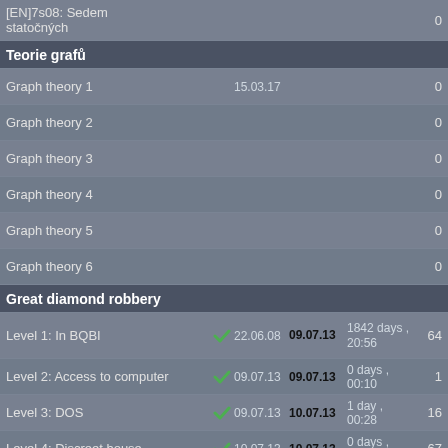[EN]7s08: Sedem statočných
Teorie grafů
Graph theory 1  15.03.17  0
Graph theory 2  0
Graph theory 3  0
Graph theory 4  0
Graph theory 5  0
Graph theory 6  0
Great diamond robbery
Level 1: In BQBI  22.06.08  09.07.13  1842 days, 20:56  64
Level 2: Access to computer  09.07.13  09.07.13  0 days, 00:10  1
Level 3: DOS  09.07.13  10.07.13  1 day, 00:28  16
Level 4: Discreet house  10.07.13  10.07.13  0 days, 00:17  67
Level 5: Safe  10.07.13  10.07.13  0 days, 01:04  49
Level 6: Al Arabbia  10.07.13  06.08.13  27 days, 00:03  95
Level 7: Hotel room  06.08.13  6
Level 8: Bar  0
Level 9: Red rocks  0
Level 10: Stone gate